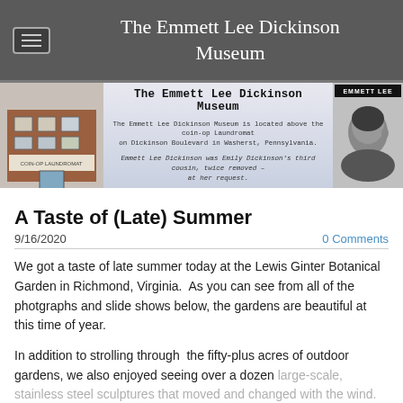The Emmett Lee Dickinson Museum
[Figure (screenshot): Banner image with building photo on left, museum title and description text in center, and portrait photo on right. Center text reads: 'The Emmett Lee Dickinson Museum', 'The Emmett Lee Dickinson Museum is located above the coin-op Laundromat on Dickinson Boulevard in Washerst, Pennsylvania.', 'Emmett Lee Dickinson was Emily Dickinson's third cousin, twice removed – at her request.']
A Taste of (Late) Summer
9/16/2020
0 Comments
We got a taste of late summer today at the Lewis Ginter Botanical Garden in Richmond, Virginia.  As you can see from all of the photgraphs and slide shows below, the gardens are beautiful at this time of year.
In addition to strolling through  the fifty-plus acres of outdoor gardens, we also enjoyed seeing over a dozen large-scale, stainless steel sculptures that moved and changed with the wind.  These works of